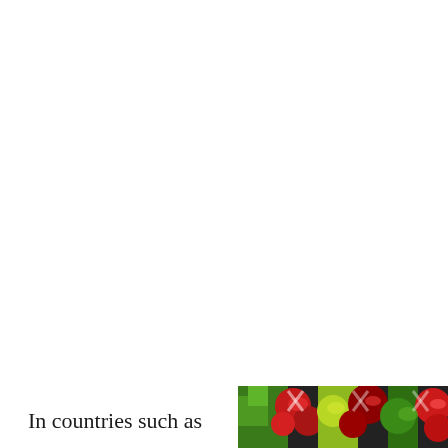In countries such as
[Figure (photo): Colorful photo of fruits and vegetables with green, red, and yellow colors visible, partially cropped at bottom-right corner of the page.]